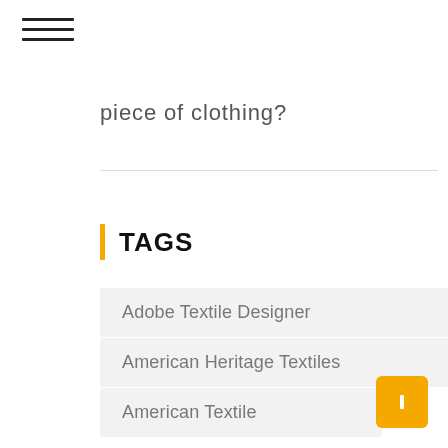piece of clothing?
TAGS
Adobe Textile Designer
American Heritage Textiles
American Textile
Anni Albers Textiles
Bamboo Textiles